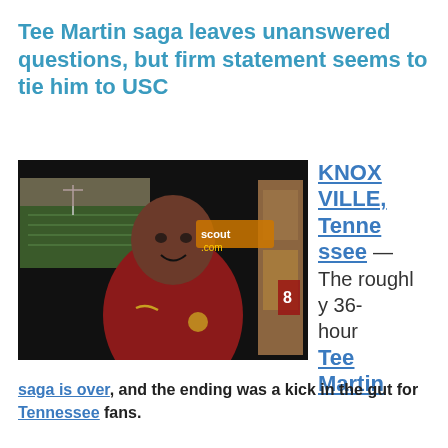Tee Martin saga leaves unanswered questions, but firm statement seems to tie him to USC
[Figure (photo): Photo of Tee Martin in a red USC polo shirt, smiling, with a football stadium image visible in the background along with a locker room setting. An orange/gold text logo reading 'scout.com' appears in the upper right area of the photo.]
KNOXVILLE, Tennessee — The roughly 36-hour Tee Martin saga is over, and the ending was a kick in the gut for Tennessee fans.